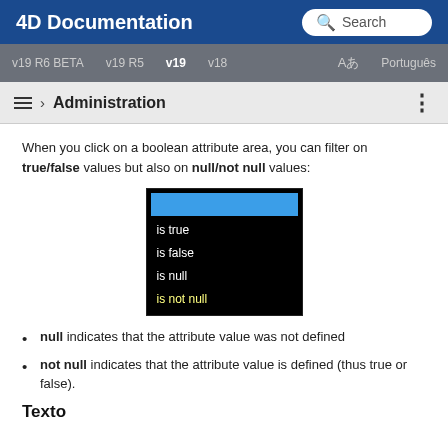4D Documentation | Search
v19 R6 BETA  v19 R5  v19  v18  Aあ  Português
≡ › Administration  ⋮
When you click on a boolean attribute area, you can filter on true/false values but also on null/not null values:
[Figure (screenshot): Dropdown menu on black background showing a blue selected bar at top, then options: is true, is false, is null, is not null (last item highlighted in yellow)]
null indicates that the attribute value was not defined
not null indicates that the attribute value is defined (thus true or false).
Texto